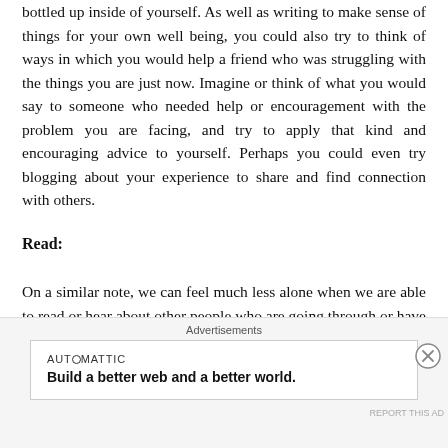bottled up inside of yourself. As well as writing to make sense of things for your own well being, you could also try to think of ways in which you would help a friend who was struggling with the things you are just now. Imagine or think of what you would say to someone who needed help or encouragement with the problem you are facing, and try to apply that kind and encouraging advice to yourself. Perhaps you could even try blogging about your experience to share and find connection with others.
Read:
On a similar note, we can feel much less alone when we are able to read or hear about other people who are going through or have overcome things that we might be finding challenging. In a pandemic you are not alone in feeling
Advertisements
AUTOMATTIC
Build a better web and a better world.
REPORT THIS AD